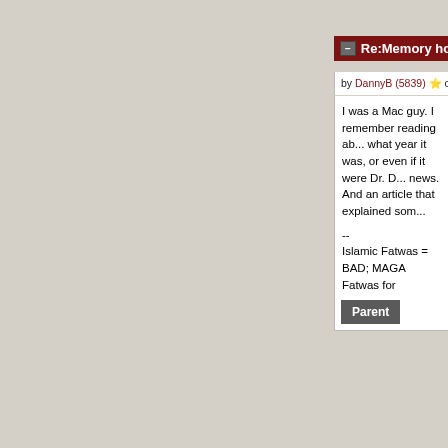Re:Memory hole for inconve...
by DannyB (5839) ⭐ on Friday November 12 2...
I was a Mac guy. I remember reading ab... what year it was, or even if it were Dr. D... news. And an article that explained som...
--
Islamic Fatwas = BAD; MAGA Fatwas for...
Parent
Moderator Help
Search
Home | About | FAQ | Journals | Topics | ... | Buy Gift Sub | Create Accoun...
Privacy Policy: We don't track anyone except on... relevant and are ignored. We don't collect any p... you except your email address, which: you can c... in the first place, is only used to contact you if n... with nobody.